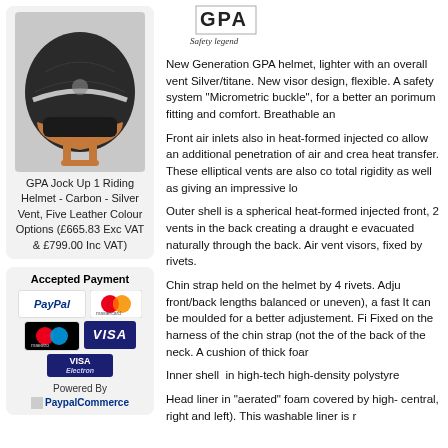[Figure (photo): GPA Jock Up 1 Riding Helmet - Carbon - Silver Vent product photo showing a dark carbon helmet with copper/rose gold leather trim]
GPA Jock Up 1 Riding Helmet - Carbon - Silver Vent, Five Leather Colour Options (£665.83 Exc VAT & £799.00 Inc VAT)
[Figure (logo): Accepted Payment logos: PayPal, Mastercard, Maestro, Visa, Visa Electron. Powered By PaypalCommerce.]
[Figure (logo): GPA Safety legend logo]
New Generation GPA helmet, lighter with an overall vent Silver/titane. New visor design, flexible. A safety system "Micrometric buckle", for a better an porimum fitting and comfort. Breathable an
Front air inlets also in heat-formed injected co allow an additional penetration of air and crea heat transfer. These elliptical vents are also co total rigidity as well as giving an impressive lo
Outer shell is a spherical heat-formed injected front, 2 vents in the back creating a draught e evacuated naturally through the back. Air vent visors, fixed by rivets.
Chin strap held on the helmet by 4 rivets. Adju front/back lengths balanced or uneven), a fast It can be moulded for a better adjustement. Fi Fixed on the harness of the chin strap (not the of the back of the neck. A cushion of thick foar
Inner shell  in high-tech high-density polystyre
Head liner in "aerated" foam covered by high- central, right and left). This washable liner is r